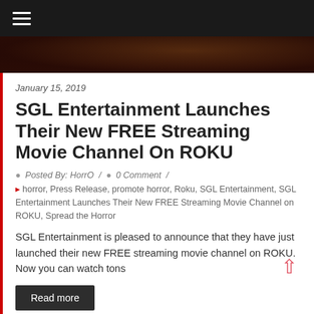≡
[Figure (photo): Dark reddish-brown hero image, partially visible at top of page]
January 15, 2019
SGL Entertainment Launches Their New FREE Streaming Movie Channel On ROKU
Posted By: HorrO / 0 Comment /
horror, Press Release, promote horror, Roku, SGL Entertainment, SGL Entertainment Launches Their New FREE Streaming Movie Channel on ROKU, Spread the Horror
SGL Entertainment is pleased to announce that they have just launched their new FREE streaming movie channel on ROKU. Now you can watch tons
Read more